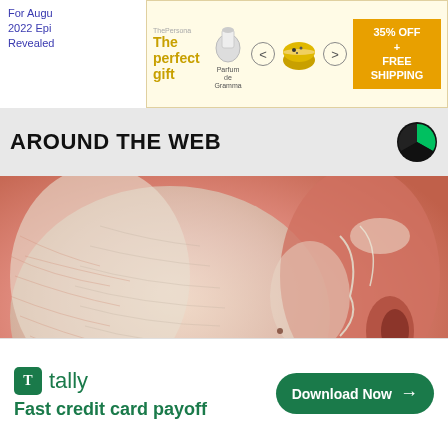[Figure (other): Advertisement banner: 'The perfect gift' by ThePersona with product carousel showing bowl/pot item, navigation arrows, and '35% OFF + FREE SHIPPING' offer in gold/amber color]
AROUND THE WEB
[Figure (photo): Close-up photo of a person's face covered in a white/pink clay or cream facial mask, showing skin texture and ear]
AD
[Figure (other): Tally advertisement banner: 'Fast credit card payoff' with green branding and 'Download Now' button, plus close/help controls]